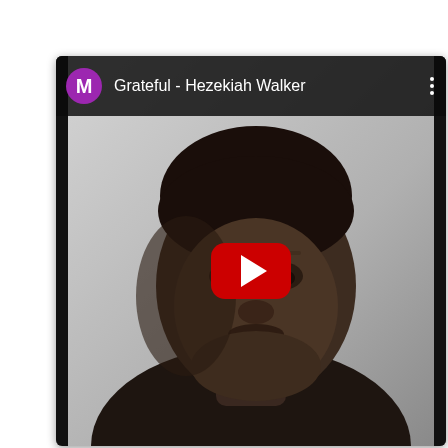[Figure (screenshot): Screenshot of a YouTube video card showing the video 'Grateful - Hezekiah Walker'. A purple avatar circle with letter M is shown in the top-left, followed by the video title in white text. A red YouTube play button is centered over a black-and-white photo of a man (Hezekiah Walker) leaning forward thoughtfully. Black side bars frame the video area. A vertical three-dot menu icon appears in the top-right.]